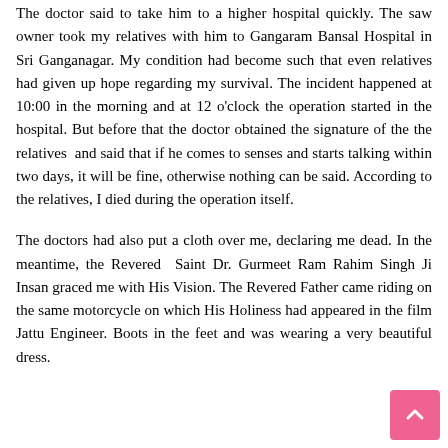The doctor said to take him to a higher hospital quickly. The saw owner took my relatives with him to Gangaram Bansal Hospital in Sri Ganganagar. My condition had become such that even relatives had given up hope regarding my survival. The incident happened at 10:00 in the morning and at 12 o'clock the operation started in the hospital. But before that the doctor obtained the signature of the the relatives  and said that if he comes to senses and starts talking within two days, it will be fine, otherwise nothing can be said. According to the relatives, I died during the operation itself.
The doctors had also put a cloth over me, declaring me dead. In the meantime, the Revered  Saint Dr. Gurmeet Ram Rahim Singh Ji Insan graced me with His Vision. The Revered Father came riding on the same motorcycle on which His Holiness had appeared in the film Jattu Engineer. Boots in the feet and was wearing a very beautiful dress.